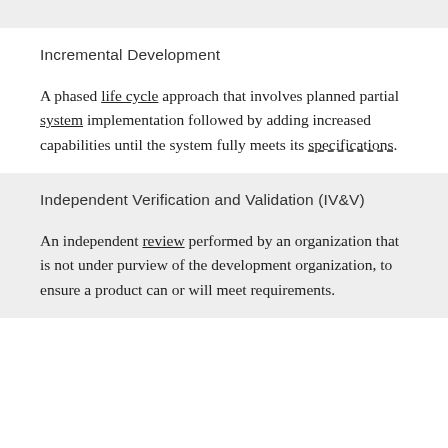Incremental Development
A phased life cycle approach that involves planned partial system implementation followed by adding increased capabilities until the system fully meets its specifications.
Independent Verification and Validation (IV&V)
An independent review performed by an organization that is not under purview of the development organization, to ensure a product can or will meet requirements.